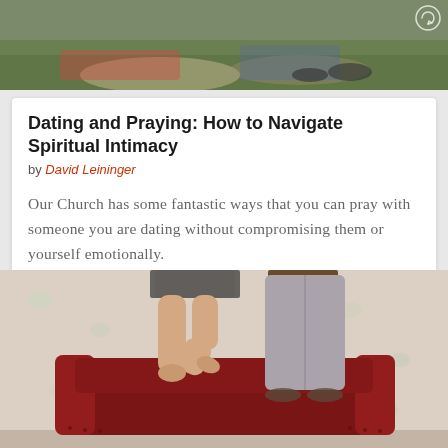[Figure (photo): Top portion of a photo showing people lying on grass outdoors, cropped to show only their lower bodies/legs area]
Dating and Praying: How to Navigate Spiritual Intimacy
by David Leininger
Our Church has some fantastic ways that you can pray with someone you are dating without compromising them or yourself emotionally.
[Figure (photo): Photo showing two people (a woman in a skirt and a man in gray pants) standing on a red velvet armchair in front of a floral wallpaper background, cropped to show only from the waist down]